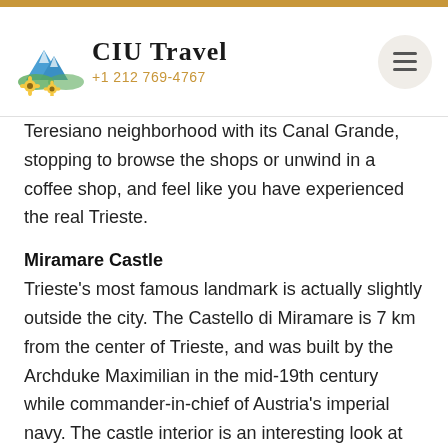CIU Travel +1 212 769-4767
Teresiano neighborhood with its Canal Grande, stopping to browse the shops or unwind in a coffee shop, and feel like you have experienced the real Trieste.
Miramare Castle
Trieste's most famous landmark is actually slightly outside the city. The Castello di Miramare is 7 km from the center of Trieste, and was built by the Archduke Maximilian in the mid-19th century while commander-in-chief of Austria's imperial navy. The castle interior is an interesting look at the architectural trends of the time, and the exterior is surrounded by a vast garden planted with rare and exotic flora.